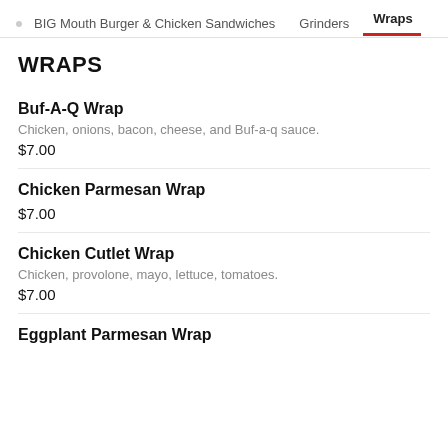BIG Mouth Burger & Chicken Sandwiches   Grinders   Wraps
WRAPS
Buf-A-Q Wrap
Chicken, onions, bacon, cheese, and Buf-a-q sauce.
$7.00
Chicken Parmesan Wrap
$7.00
Chicken Cutlet Wrap
Chicken, provolone, mayo, lettuce, tomatoes.
$7.00
Eggplant Parmesan Wrap